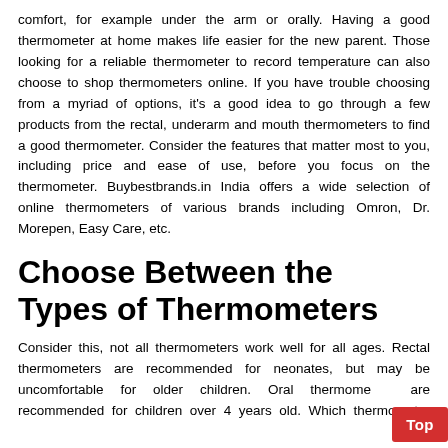comfort, for example under the arm or orally. Having a good thermometer at home makes life easier for the new parent. Those looking for a reliable thermometer to record temperature can also choose to shop thermometers online. If you have trouble choosing from a myriad of options, it's a good idea to go through a few products from the rectal, underarm and mouth thermometers to find a good thermometer. Consider the features that matter most to you, including price and ease of use, before you focus on the thermometer. Buybestbrands.in India offers a wide selection of online thermometers of various brands including Omron, Dr. Morepen, Easy Care, etc.
Choose Between the Types of Thermometers
Consider this, not all thermometers work well for all ages. Rectal thermometers are recommended for neonates, but may be uncomfortable for older children. Oral thermometers are recommended for children over 4 years old. Which thermometer